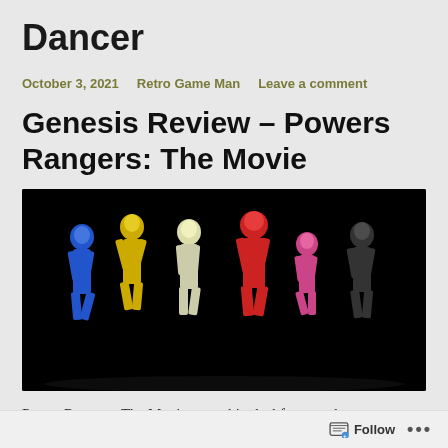Dancer
October 3, 2021   Retro Game Man   Leave a comment
Genesis Review – Powers Rangers: The Movie
[Figure (photo): Six Power Rangers action figures posed in a row against a black background: blue, yellow, white/gold, red, pink, and black rangers.]
Power Rangers: The Movie was a big deal for me when